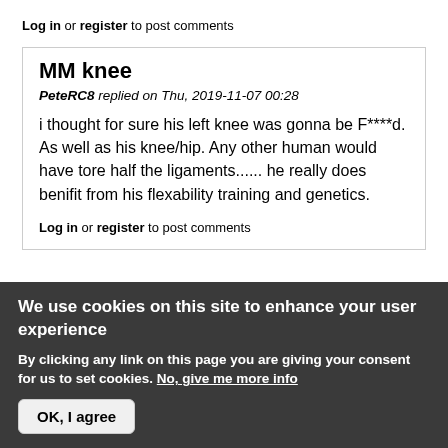Log in or register to post comments
MM knee
PeteRC8 replied on Thu, 2019-11-07 00:28
i thought for sure his left knee was gonna be F****d. As well as his knee/hip. Any other human would have tore half the ligaments...... he really does benifit from his flexability training and genetics.
Log in or register to post comments
We use cookies on this site to enhance your user experience
By clicking any link on this page you are giving your consent for us to set cookies. No, give me more info
OK, I agree